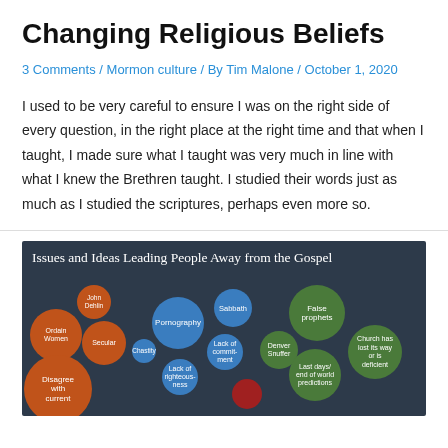Changing Religious Beliefs
3 Comments / Mormon culture / By Tim Malone / October 1, 2020
I used to be very careful to ensure I was on the right side of every question, in the right place at the right time and that when I taught, I made sure what I taught was very much in line with what I knew the Brethren taught. I studied their words just as much as I studied the scriptures, perhaps even more so.
[Figure (infographic): Bubble chart titled 'Issues and Ideas Leading People Away from the Gospel' showing various colored bubbles (orange, blue, green, red) with labels including: Ordain Women, John Dehlin, Pornography, Sabbath, False prophets, Secular, Chastity, Denver Snuffer, Church has lost its way or is deficient, Lack of commitment, Disagree with current, Lack of righteousness, Last days/end of world predictions]